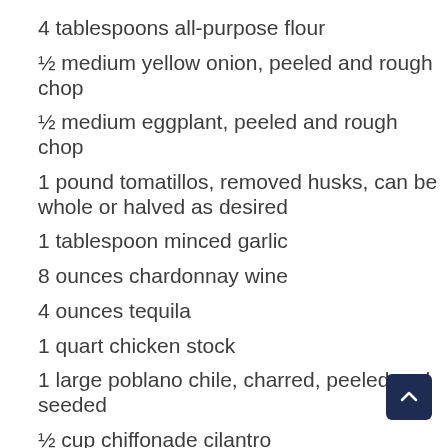4 tablespoons all-purpose flour
½ medium yellow onion, peeled and rough chop
½ medium eggplant, peeled and rough chop
1 pound tomatillos, removed husks, can be whole or halved as desired
1 tablespoon minced garlic
8 ounces chardonnay wine
4 ounces tequila
1 quart chicken stock
1 large poblano chile, charred, peeled and seeded
½ cup chiffonade cilantro
2 teaspoons dried oregano
2 each, bay leaf
salt and pepper to taste
½ cup olive oil